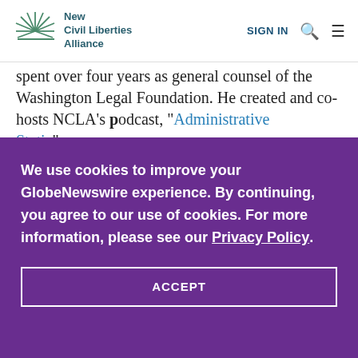New Civil Liberties Alliance | SIGN IN
spent over four years as general counsel of the Washington Legal Foundation. He created and co-hosts NCLA's podcast, "Administrative Static".
We use cookies to improve your GlobeNewswire experience. By continuing, you agree to our use of cookies. For more information, please see our Privacy Policy.
ACCEPT